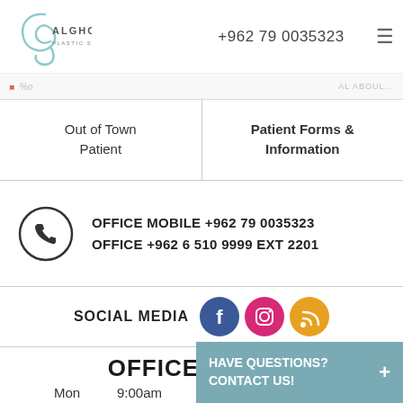ALGHOUL PLASTIC SURGERY  +962 79 0035323
Out of Town Patient
Patient Forms & Information
OFFICE MOBILE +962 79 0035323
OFFICE +962 6 510 9999 EXT 2201
SOCIAL MEDIA
OFFICE HOURS
Mon  9:00am
Tues  9:00am
HAVE QUESTIONS? +
CONTACT US!